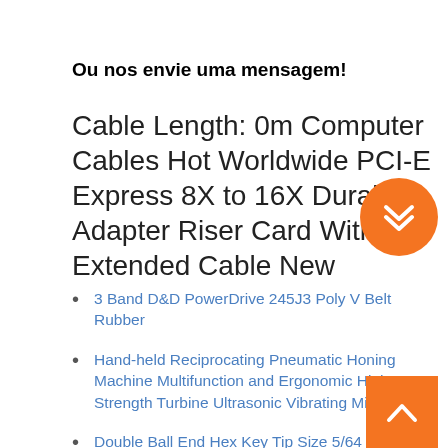Ou nos envie uma mensagem!
Cable Length: 0m Computer Cables Hot Worldwide PCI-E Express 8X to 16X Durable Adapter Riser Card Without Extended Cable New
3 Band D&D PowerDrive 245J3 Poly V Belt Rubber
Hand-held Reciprocating Pneumatic Honing Machine Multifunction and Ergonomic High Strength Turbine Ultrasonic Vibrating Mill
Double Ball End Hex Key Tip Size 5/64 in
MiracleLED 604931 Miracle LED Lovely